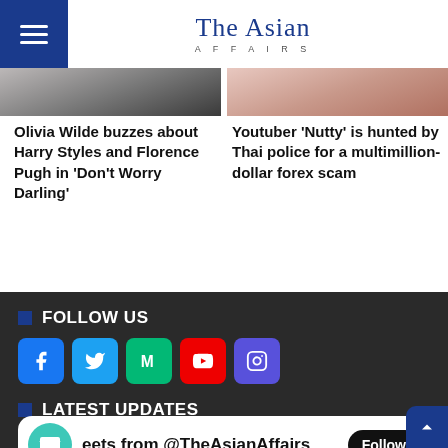The Asian AFFAIRS
Olivia Wilde buzzes about Harry Styles and Florence Pugh in 'Don't Worry Darling'
Youtuber 'Nutty' is hunted by Thai police for a multimillion-dollar forex scam
FOLLOW US
LATEST UPDATES
eets from @TheAsianAffairs Follow